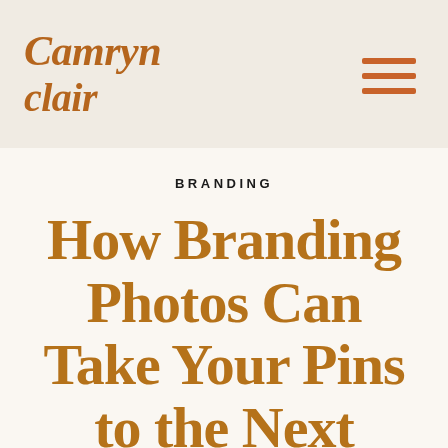[Figure (logo): Camryn Clair logo in serif italic brown font with hamburger menu icon in orange on the right]
BRANDING
How Branding Photos Can Take Your Pins to the Next Level